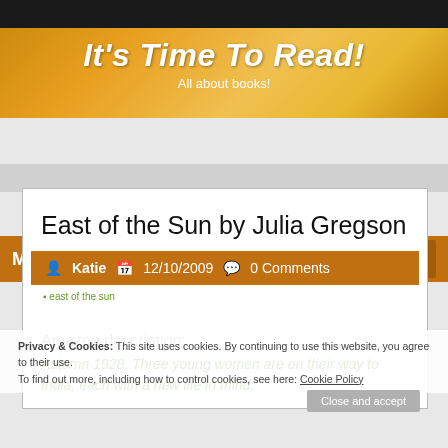It's Time To Read! — All about books!
East of the Sun by Julia Gregson
Katie  12/10/2009  0 Comments
Amazon description:
Autumn 1928. Three young women are on their way to India, each with a new life in mind.
Privacy & Cookies: This site uses cookies. By continuing to use this website, you agree to their use. To find out more, including how to control cookies, see here: Cookie Policy